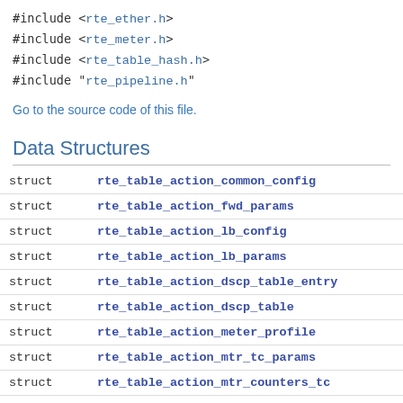#include <rte_ether.h>
#include <rte_meter.h>
#include <rte_table_hash.h>
#include "rte_pipeline.h"
Go to the source code of this file.
Data Structures
|  |  |
| --- | --- |
| struct | rte_table_action_common_config |
| struct | rte_table_action_fwd_params |
| struct | rte_table_action_lb_config |
| struct | rte_table_action_lb_params |
| struct | rte_table_action_dscp_table_entry |
| struct | rte_table_action_dscp_table |
| struct | rte_table_action_meter_profile |
| struct | rte_table_action_mtr_tc_params |
| struct | rte_table_action_mtr_counters_tc |
| struct | rte_table_action_mtr_config |
| struct | rte_table_action_mtr_params |